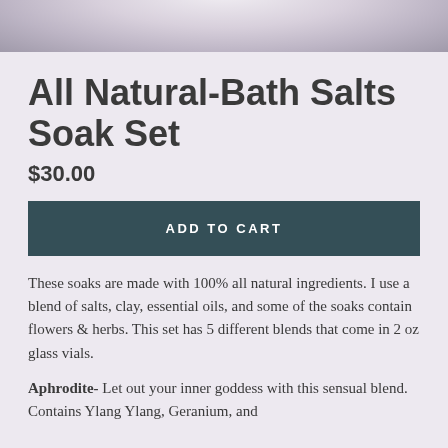[Figure (photo): Top portion of a product photo showing bath salts or similar powdery white/light substance in a container, cropped at the bottom of the image area.]
All Natural-Bath Salts Soak Set
$30.00
ADD TO CART
These soaks are made with 100% all natural ingredients. I use a blend of salts, clay, essential oils, and some of the soaks contain flowers & herbs. This set has 5 different blends that come in 2 oz glass vials.
Aphrodite- Let out your inner goddess with this sensual blend. Contains Ylang Ylang, Geranium, and